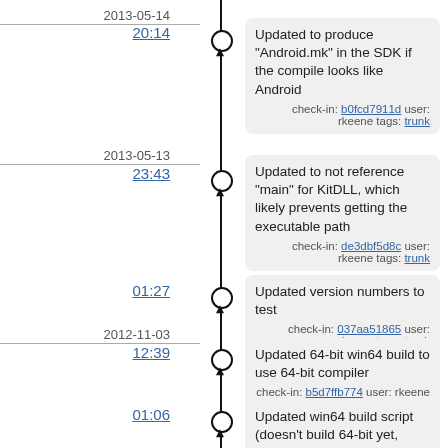2013-05-14
20:14
Updated to produce "Android.mk" in the SDK if the compile looks like Android
check-in: b0fcd7911d user: rkeene tags: trunk
2013-05-13
23:43
Updated to not reference "main" for KitDLL, which likely prevents getting the executable path
check-in: de3dbf5d8c user: rkeene tags: trunk
01:27
Updated version numbers to test
check-in: 037aa51865 user: rkeene tags: trunk
2012-11-03
12:39
Updated 64-bit win64 build to use 64-bit compiler
check-in: b5d7ffb774 user: rkeene tags: trunk
01:06
Updated win64 build script (doesn't build 64-bit yet, oops)
check-in: 250dfac130 user: rkeene tags: trunk